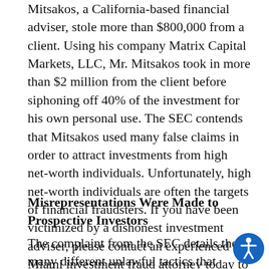Mitsakos, a California-based financial adviser, stole more than $800,000 from a client. Using his company Matrix Capital Markets, LLC, Mr. Mitsakos took in more than $2 million from the client before siphoning off 40% of the investment for his own personal use. The SEC contends that Mitsakos used many false claims in order to attract investments from high net-worth individuals. Unfortunately, high net-worth individuals are often the targets of financial fraudsters. If you have been victimized by a dishonest investment adviser, please contact an experienced Miami investment fraud attorney today to discuss your legal options.
Misrepresentations Were Made to Prospective Investors
The complaint from the SEC details the many different unlawful tactics that Mitsakos used in a